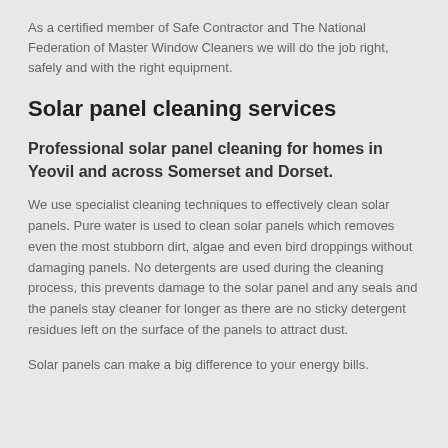As a certified member of Safe Contractor and The National Federation of Master Window Cleaners we will do the job right, safely and with the right equipment.
Solar panel cleaning services
Professional solar panel cleaning for homes in Yeovil and across Somerset and Dorset.
We use specialist cleaning techniques to effectively clean solar panels. Pure water is used to clean solar panels which removes even the most stubborn dirt, algae and even bird droppings without damaging panels. No detergents are used during the cleaning process, this prevents damage to the solar panel and any seals and the panels stay cleaner for longer as there are no sticky detergent residues left on the surface of the panels to attract dust.
Solar panels can make a big difference to your energy bills.